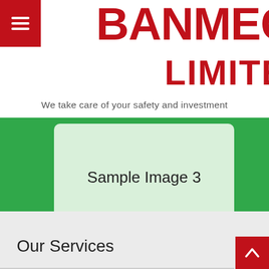BANMECH LIMITED
We take care of your safety and investment
[Figure (illustration): Sample Image 3 placeholder on a green background with a light green rounded rectangle containing the text 'Sample Image 3']
Our Services